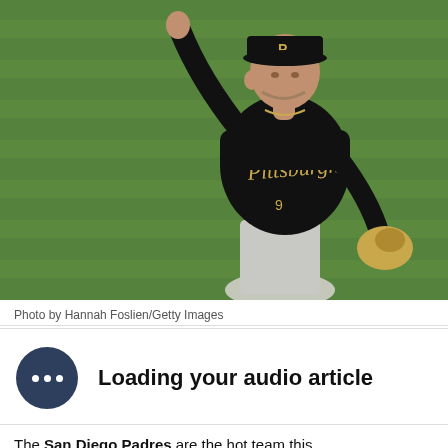[Figure (photo): Pittsburgh Pirates pitcher in black uniform throwing a pitch, with green grass field in background]
Photo by Hannah Foslien/Getty Images
Loading your audio article
The San Diego Padres are the hot team this